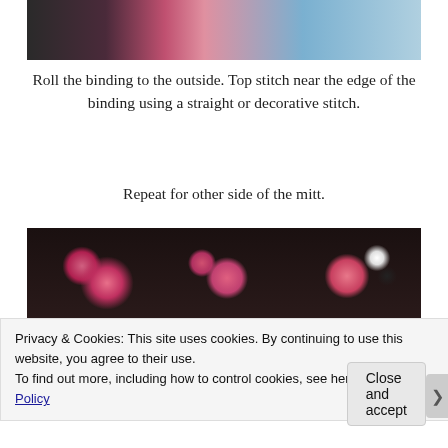[Figure (photo): Close-up photo of fabric with owl print design including black, pink and blue colored owls, partially visible at the top of the page]
Roll the binding to the outside. Top stitch near the edge of the binding using a straight or decorative stitch.
Repeat for other side of the mitt.
[Figure (photo): Close-up photo of fabric with colorful owl print, showing pink and red owls with white eyes on a dark background]
Privacy & Cookies: This site uses cookies. By continuing to use this website, you agree to their use.
To find out more, including how to control cookies, see here: Cookie Policy